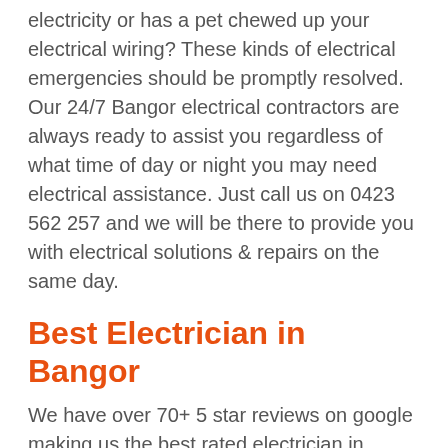electricity or has a pet chewed up your electrical wiring? These kinds of electrical emergencies should be promptly resolved. Our 24/7 Bangor electrical contractors are always ready to assist you regardless of what time of day or night you may need electrical assistance. Just call us on 0423 562 257 and we will be there to provide you with electrical solutions & repairs on the same day.
Best Electrician in Bangor
We have over 70+ 5 star reviews on google making us the best rated electrician in Bangor. We fully trained master electricians which means that you get quality, long lasting work carried out by licensed professionals. Our team are all Local Bangor electricians servicing customers across all The Sutherland Shire delivering professional yet affordable